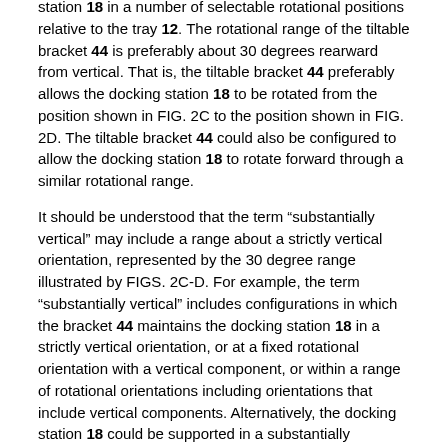station 18 in a number of selectable rotational positions relative to the tray 12. The rotational range of the tiltable bracket 44 is preferably about 30 degrees rearward from vertical. That is, the tiltable bracket 44 preferably allows the docking station 18 to be rotated from the position shown in FIG. 2C to the position shown in FIG. 2D. The tiltable bracket 44 could also be configured to allow the docking station 18 to rotate forward through a similar rotational range.
It should be understood that the term "substantially vertical" may include a range about a strictly vertical orientation, represented by the 30 degree range illustrated by FIGS. 2C-D. For example, the term "substantially vertical" includes configurations in which the bracket 44 maintains the docking station 18 in a strictly vertical orientation, or at a fixed rotational orientation with a vertical component, or within a range of rotational orientations including orientations that include vertical components. Alternatively, the docking station 18 could be supported in a substantially horizontal position, for example by a drawer or pull-out tray located above or under the horizontal tray 12. Other locations for the docking station 18 may be